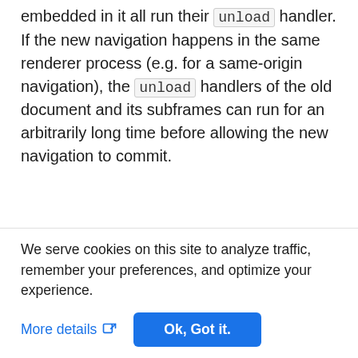embedded in it all run their unload handler. If the new navigation happens in the same renderer process (e.g. for a same-origin navigation), the unload handlers of the old document and its subframes can run for an arbitrarily long time before allowing the new navigation to commit.
[Figure (screenshot): Code block showing: addEventListener('unload', () => { doSomethingThatMightTakeLongTime();]
We serve cookies on this site to analyze traffic, remember your preferences, and optimize your experience.
More details  Ok, Got it.